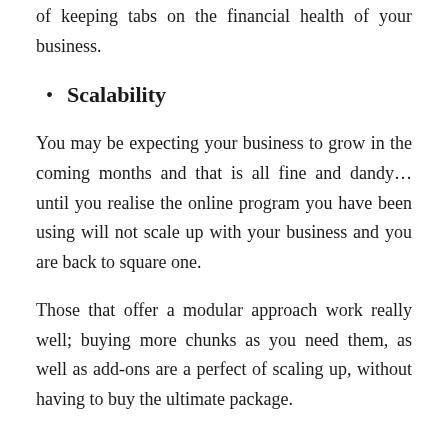sales and payments are two essential components of keeping tabs on the financial health of your business.
Scalability
You may be expecting your business to grow in the coming months and that is all fine and dandy… until you realise the online program you have been using will not scale up with your business and you are back to square one.
Those that offer a modular approach work really well; buying more chunks as you need them, as well as add-ons are a perfect of scaling up, without having to buy the ultimate package.